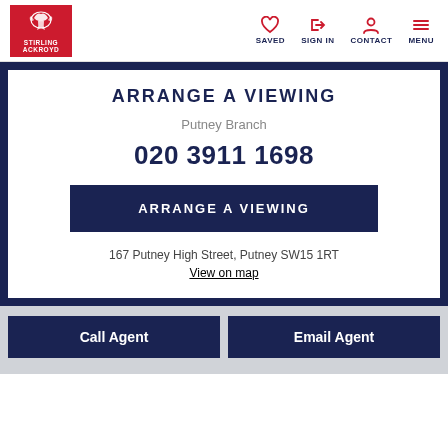Stirling Ackroyd — SAVED, SIGN IN, CONTACT, MENU
ARRANGE A VIEWING
Putney Branch
020 3911 1698
ARRANGE A VIEWING
167 Putney High Street, Putney SW15 1RT
View on map
Call Agent
Email Agent